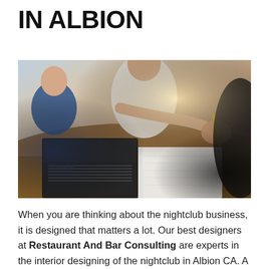IN ALBION
[Figure (photo): Business meeting scene — people at a table with a laptop and notebook, one person pointing and another holding a pen, warm lighting suggesting collaboration]
When you are thinking about the nightclub business, it is designed that matters a lot. Our best designers at Restaurant And Bar Consulting are experts in the interior designing of the nightclub in Albion CA. A